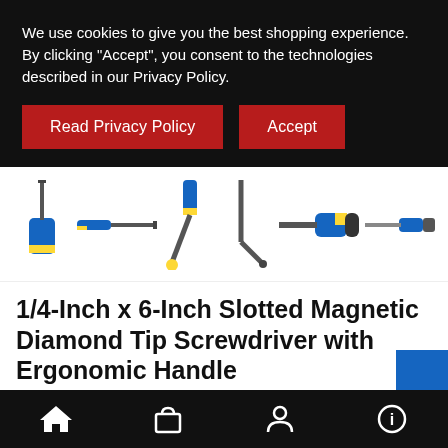We use cookies to give you the best shopping experience. By clicking "Accept", you consent to the technologies described in our Privacy Policy.
Read Privacy Policy
Accept
[Figure (photo): Six product images of screwdrivers with blue and yellow handles shown at various angles including straight, angled, and curved positions against white background]
1/4-Inch x 6-Inch Slotted Magnetic Diamond Tip Screwdriver with Ergonomic Handle
[Figure (infographic): Mobile app bottom navigation bar with four icons: home (house), shopping bag, person/user account, and info (circled i), all in white on black background]